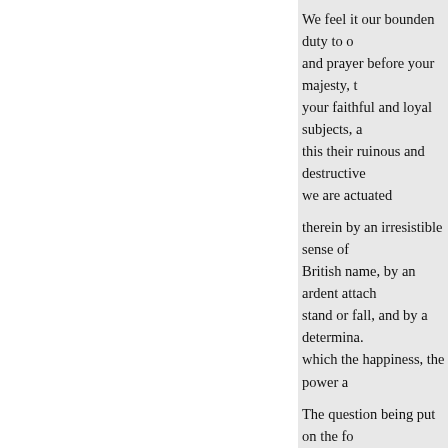We feel it our bounden duty to o... and prayer before your majesty, t... your faithful and loyal subjects, a... this their ruinous and destructive... we are actuated
therein by an irresistible sense of... British name, by an ardent attach... stand or fall, and by a determina... which the happiness, the power a...
The question being put on the fo... Visc.
77 Corry and Mr. Saurin, Telle...
Hon. Mr. Attorney General, an...
John,
It passed in the negative.
PROTEST OF THE IRISH PE